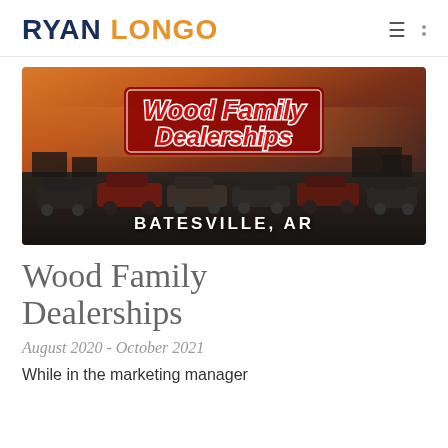RYAN LONGO
[Figure (photo): Wood Family Dealerships promotional image showing car dealership lot with cars, dramatic orange/red sunset sky. Text overlay shows 'Wood Family Dealerships' logo in red italic font, and 'BATESVILLE, AR' in white text at the bottom.]
Wood Family Dealerships
August 2020 - October 2021
While in the marketing manager